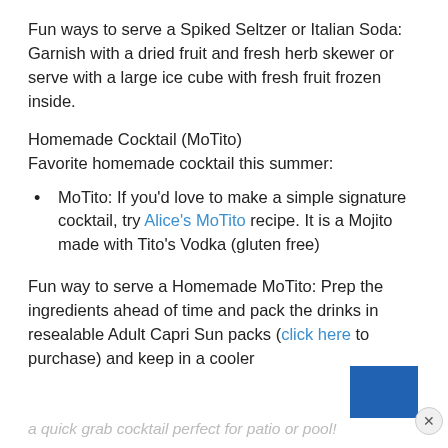Fun ways to serve a Spiked Seltzer or Italian Soda: Garnish with a dried fruit and fresh herb skewer or serve with a large ice cube with fresh fruit frozen inside.
Homemade Cocktail (MoTito)
Favorite homemade cocktail this summer:
MoTito: If you'd love to make a simple signature cocktail, try Alice's MoTito recipe. It is a Mojito made with Tito's Vodka (gluten free)
Fun way to serve a Homemade MoTito: Prep the ingredients ahead of time and pack the drinks in resealable Adult Capri Sun packs (click here to purchase) and keep in a cooler
a quick grab cocktail perfect for patio or pool!